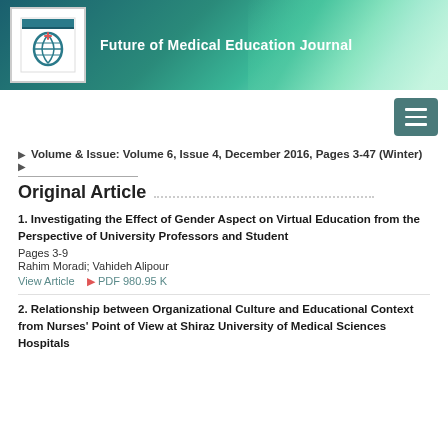[Figure (logo): Future of Medical Education Journal header banner with logo and journal title]
Volume & Issue: Volume 6, Issue 4, December 2016, Pages 3-47 (Winter)
Original Article
1. Investigating the Effect of Gender Aspect on Virtual Education from the Perspective of University Professors and Student
Pages 3-9
Rahim Moradi; Vahideh Alipour
View Article   PDF 980.95 K
2. Relationship between Organizational Culture and Educational Context from Nurses' Point of View at Shiraz University of Medical Sciences Hospitals